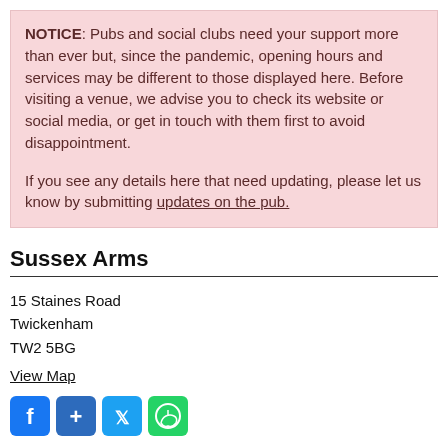NOTICE: Pubs and social clubs need your support more than ever but, since the pandemic, opening hours and services may be different to those displayed here. Before visiting a venue, we advise you to check its website or social media, or get in touch with them first to avoid disappointment.

If you see any details here that need updating, please let us know by submitting updates on the pub.
Sussex Arms
15 Staines Road
Twickenham
TW2 5BG
View Map
[Figure (other): Social sharing icons: Facebook, Share, Twitter, WhatsApp]
(020) 8894 7468
Send an email to the Pub